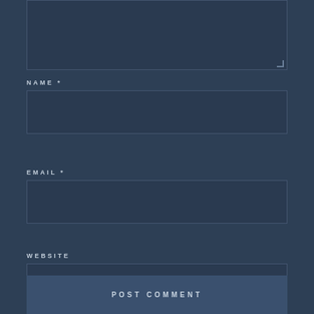[Figure (screenshot): Partial text area input box at the top of the page with resize handle in bottom-right corner]
NAME *
[Figure (screenshot): Name input field, empty, dark blue background]
EMAIL *
[Figure (screenshot): Email input field, empty, dark blue background]
WEBSITE
[Figure (screenshot): Website input field, empty, dark blue background]
POST COMMENT